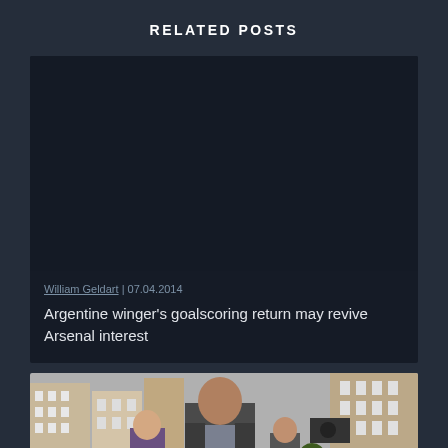RELATED POSTS
[Figure (photo): Dark/blank placeholder image for the Argentine winger article]
William Geldart | 07.04.2014
Argentine winger's goalscoring return may revive Arsenal interest
[Figure (photo): Photo of Jose Mourinho walking on a street in London, surrounded by people, with brick buildings in the background]